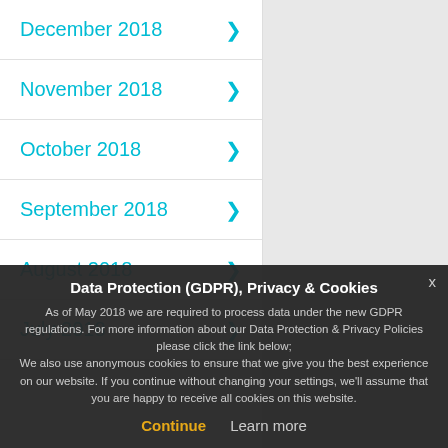December 2018
November 2018
October 2018
September 2018
August 2018
July 2018
Oh and one more t
Data Protection (GDPR), Privacy & Cookies
As of May 2018 we are required to process data under the new GDPR regulations. For more information about our Data Protection & Privacy Policies please click the link below;
We also use anonymous cookies to ensure that we give you the best experience on our website. If you continue without changing your settings, we'll assume that you are happy to receive all cookies on this website.
Continue   Learn more